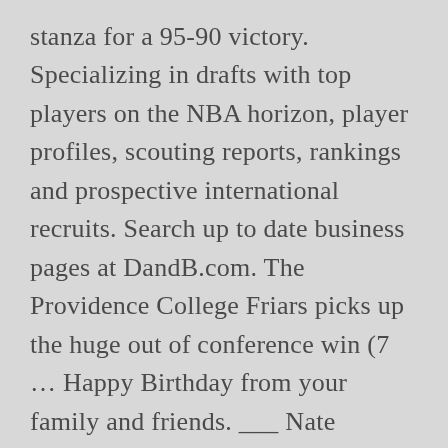stanza for a 95-90 victory. Specializing in drafts with top players on the NBA horizon, player profiles, scouting reports, rankings and prospective international recruits. Search up to date business pages at DandB.com. The Providence College Friars picks up the huge out of conference win (7 ... Happy Birthday from your family and friends. ___ Nate Watson led the Friars with 23 points and 11 rebounds, while David Duke added 18 points and 10 rebounds. Ed Cooley lands an ELITE scorer as AJ Reeves (@ajreeves11) commits to Providence. ... Providence started its season-ending six-game winning streak in 2019-20 with a 74-71 home victory over the Pirates.